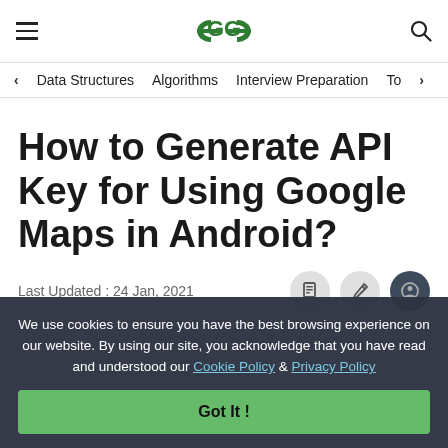GeeksForGeeks — hamburger menu, logo, search icon
< Data Structures  Algorithms  Interview Preparation  To>
How to Generate API Key for Using Google Maps in Android?
Last Updated : 24 Jan, 2021
We use cookies to ensure you have the best browsing experience on our website. By using our site, you acknowledge that you have read and understood our Cookie Policy & Privacy Policy
Got It !